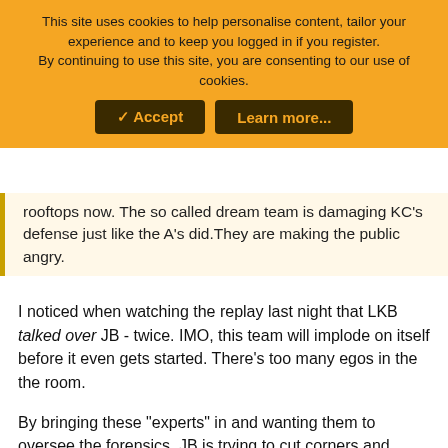This site uses cookies to help personalise content, tailor your experience and to keep you logged in if you register. By continuing to use this site, you are consenting to our use of cookies.
✓ Accept   Learn more...
rooftops now. The so called dream team is damaging KC's defense just like the A's did.They are making the public angry.
I noticed when watching the replay last night that LKB talked over JB - twice. IMO, this team will implode on itself before it even gets started. There's too many egos in the the room.
By bringing these "experts" in and wanting them to oversee the forensics, JB is trying to cut corners and potentially this relates to cost. If they oversee, they don't have to do their part of the defense investigation forensically which would be far more involved: they have to bring their own tools, pay for their own